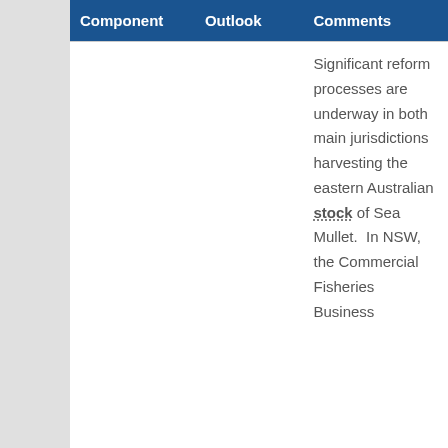| Component | Outlook | Comments |
| --- | --- | --- |
|  |  | Significant reform processes are underway in both main jurisdictions harvesting the eastern Australian stock of Sea Mullet.  In NSW, the Commercial Fisheries Business |